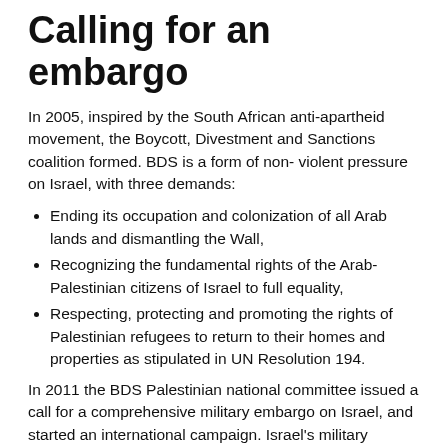Calling for an embargo
In 2005, inspired by the South African anti-apartheid movement, the Boycott, Divestment and Sanctions coalition formed. BDS is a form of non- violent pressure on Israel, with three demands:
Ending its occupation and colonization of all Arab lands and dismantling the Wall,
Recognizing the fundamental rights of the Arab-Palestinian citizens of Israel to full equality,
Respecting, protecting and promoting the rights of Palestinian refugees to return to their homes and properties as stipulated in UN Resolution 194.
In 2011 the BDS Palestinian national committee issued a call for a comprehensive military embargo on Israel, and started an international campaign. Israel's military occupation and apartheid regime simply couldn't continue to violate our rights day after day if governments around the world ended military and security relations with Israel. It would be economically and technologically unsustainable.